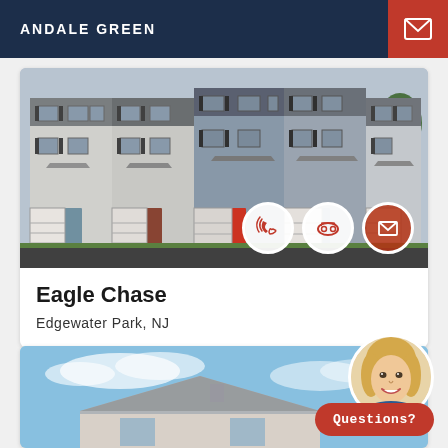ANDALE GREEN
[Figure (photo): Exterior photo of Eagle Chase townhomes in Edgewater Park, NJ. Row of multi-story townhomes with garages in gray and blue siding.]
Eagle Chase
Edgewater Park, NJ
[Figure (photo): Partial exterior photo of a home with blue sky background, partially visible roof. Agent photo overlay with a smiling woman with blonde hair.]